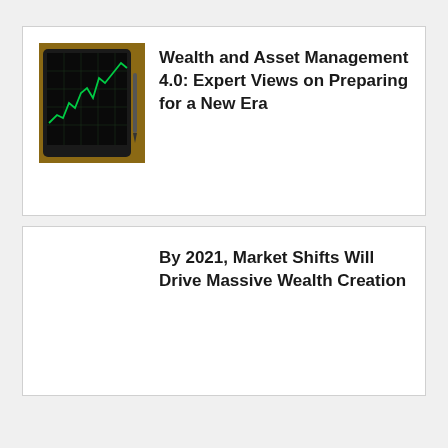[Figure (photo): Photo of a tablet showing a green stock market chart on a dark screen, with a stylus pen beside it on a white surface]
Wealth and Asset Management 4.0: Expert Views on Preparing for a New Era
By 2021, Market Shifts Will Drive Massive Wealth Creation